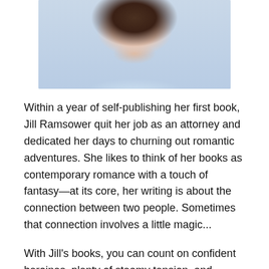[Figure (photo): Portrait photo of Jill Ramsower, a woman with dark hair, smiling, wearing a light blue top, against a neutral background.]
Within a year of self-publishing her first book, Jill Ramsower quit her job as an attorney and dedicated her days to churning out romantic adventures. She likes to think of her books as contemporary romance with a touch of fantasy—at its core, her writing is about the connection between two people. Sometimes that connection involves a little magic...
With Jill's books, you can count on confident heroines, plenty of steamy tension, and deliciously assertive leading